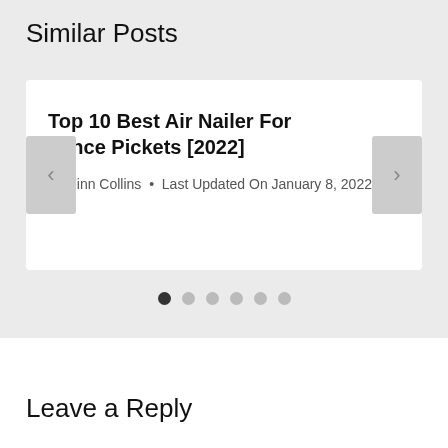Similar Posts
Top 10 Best Air Nailer For Fence Pickets [2022]
By Finn Collins  •  Last Updated On January 8, 2022
[Figure (other): Carousel navigation dots: 6 dots with first dot filled/active]
Leave a Reply